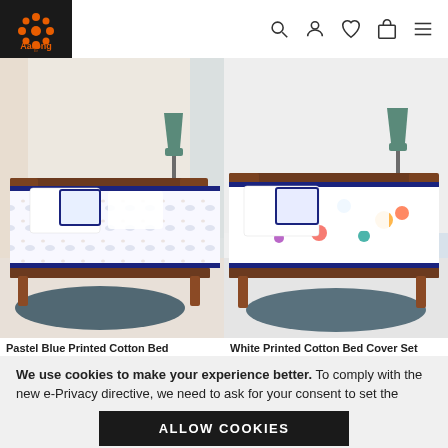Aarong
[Figure (photo): Pastel Blue Printed Cotton Bed Cover Set on a wooden bed with white pillows and decorative cushions in a bedroom setting]
[Figure (photo): White Printed Cotton Bed Cover Set with colorful animal prints on a wooden bed with white pillows in a bedroom setting]
Pastel Blue Printed Cotton Bed
White Printed Cotton Bed Cover Set
We use cookies to make your experience better. To comply with the new e-Privacy directive, we need to ask for your consent to set the cookies. Learn more.
ALLOW COOKIES